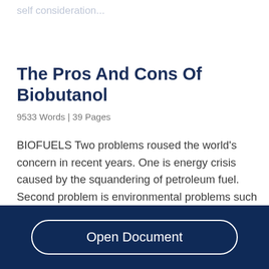self consideration...
The Pros And Cons Of Biobutanol
9533 Words  | 39 Pages
BIOFUELS Two problems roused the world’s concern in recent years. One is energy crisis caused by the squandering of petroleum fuel. Second problem is environmental problems such as greenhouse effect, global warming, etc. To deal
Open Document